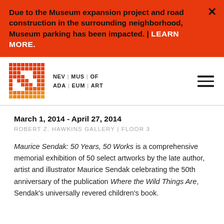Due to the Museum expansion project and road construction in the surrounding neighborhood, Museum parking has been impacted. | LEARN MORE.
[Figure (logo): Nevada Museum of Art logo — pixelated letter N in red and orange gradient with text NEV|MUS|OF / ADA|EUM|ART]
March 1, 2014 - April 27, 2014
ROBERT Z. HAWKINS GALLERY | FLOOR 3
Maurice Sendak: 50 Years, 50 Works is a comprehensive memorial exhibition of 50 select artworks by the late author, artist and illustrator Maurice Sendak celebrating the 50th anniversary of the publication Where the Wild Things Are, Sendak's universally revered children's book.